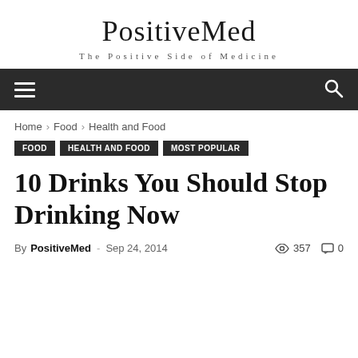PositiveMed — The Positive Side of Medicine
Home › Food › Health and Food
Food   Health and Food   Most Popular
10 Drinks You Should Stop Drinking Now
By PositiveMed - Sep 24, 2014  357  0